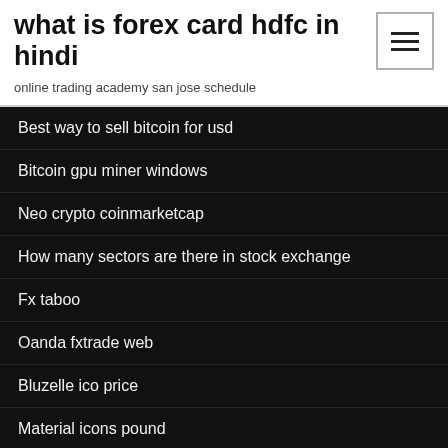what is forex card hdfc in hindi
online trading academy san jose schedule
Best way to sell bitcoin for usd
Bitcoin gpu miner windows
Neo crypto coinmarketcap
How many sectors are there in stock exchange
Fx taboo
Oanda fxtrade web
Bluzelle ico price
Material icons pound
Wb stock rating
Stock market significate